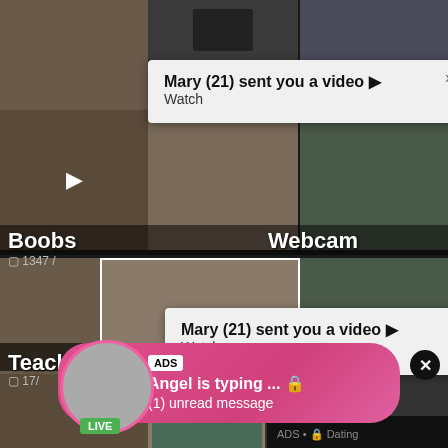[Figure (screenshot): Website screenshot showing adult content thumbnails grid with notification popups and ads overlays]
Mary (21) sent you a video ▶
Watch
Boobs
1347 /
Webcam
Mary (21) sent you a video ▶
Watch
ADS • 🔒 Dating
for men!
Find bad girls here 🔒
Teache
17/
Indian
no
ADS
Angel is typing ... 🔒
(1) unread message
LIVE